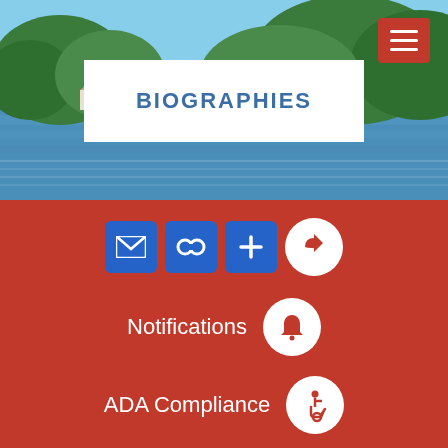[Figure (photo): Scenic river/lake view with green tree-covered hills in background, summer day]
BIOGRAPHIES
[Figure (infographic): Red background section with email, link, and plus blue icon buttons; share circle button; Notifications bell circle button; ADA Compliance wheelchair circle button]
TOWN OF CANTON >> VISITORS >> SIGHT-SEEING >> YOUR SILENT NEIGHBORS >> BIOGRAPHIES